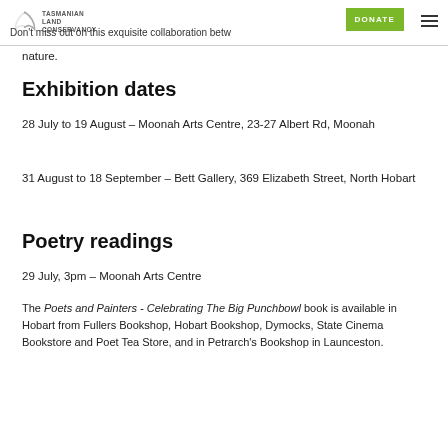Tasmanian Land Conservancy — Don't miss out on this exquisite collaboration betw... nature.
Don't miss out on this exquisite collaboration betw... nature.
Exhibition dates
28 July to 19 August – Moonah Arts Centre, 23-27 Albert Rd, Moonah
31 August to 18 September – Bett Gallery, 369 Elizabeth Street, North Hobart
Poetry readings
29 July, 3pm – Moonah Arts Centre
The Poets and Painters - Celebrating The Big Punchbowl book is available in Hobart from Fullers Bookshop, Hobart Bookshop, Dymocks, State Cinema Bookstore and Poet Tea Store, and in Petrarch's Bookshop in Launceston.